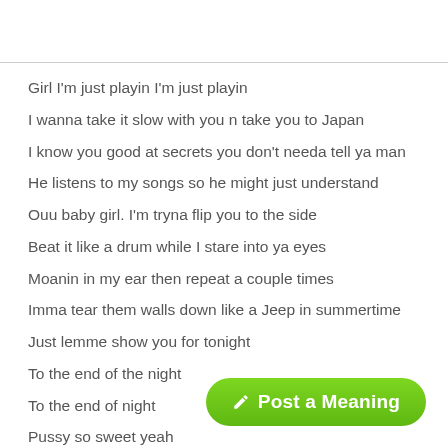Girl I'm just playin I'm just playin
I wanna take it slow with you n take you to Japan
I know you good at secrets you don't needa tell ya man
He listens to my songs so he might just understand
Ouu baby girl. I'm tryna flip you to the side
Beat it like a drum while I stare into ya eyes
Moanin in my ear then repeat a couple times
Imma tear them walls down like a Jeep in summertime
Just lemme show you for tonight
To the end of the night
To the end of night
Pussy so sweet yeah
[Figure (other): Green rounded button labeled 'Post a Meaning' with a pencil icon]